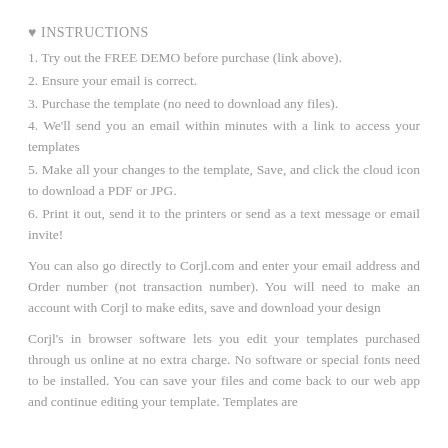♥ INSTRUCTIONS
1. Try out the FREE DEMO before purchase (link above).
2. Ensure your email is correct.
3. Purchase the template (no need to download any files).
4. We'll send you an email within minutes with a link to access your templates
5. Make all your changes to the template, Save, and click the cloud icon to download a PDF or JPG.
6. Print it out, send it to the printers or send as a text message or email invite!
You can also go directly to Corjl.com and enter your email address and Order number (not transaction number). You will need to make an account with Corjl to make edits, save and download your design
Corjl's in browser software lets you edit your templates purchased through us online at no extra charge. No software or special fonts need to be installed. You can save your files and come back to our web app and continue editing your template. Templates are